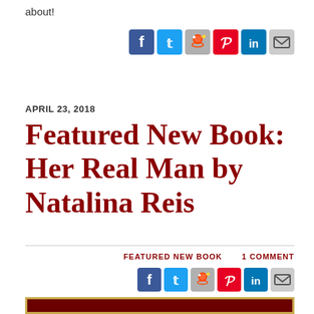about!
[Figure (infographic): Social media sharing icons: Facebook, Twitter, Reddit, Pinterest, LinkedIn, Email (top set)]
APRIL 23, 2018
Featured New Book: Her Real Man by Natalina Reis
FEATURED NEW BOOK    1 COMMENT
[Figure (infographic): Social media sharing icons: Facebook, Twitter, Reddit, Pinterest, LinkedIn, Email (bottom set)]
[Figure (photo): Book cover image with dark red background and gold border, partial text visible]